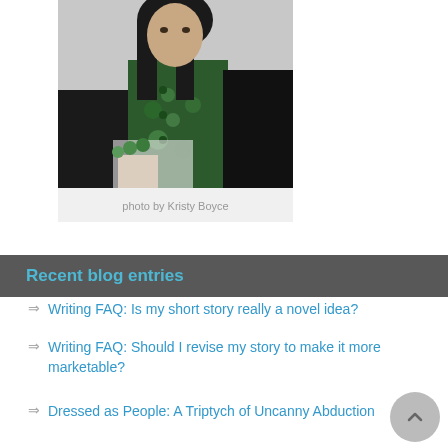[Figure (photo): A woman with long dark hair wearing a green patterned jacket/vest over a dark outfit, posed indoors]
photo by Kristy Boyce
Recent blog entries
Writing FAQ: Is my short story really a novel idea?
Writing FAQ: Should I revise my story to make it more marketable?
Dressed as People: A Triptych of Uncanny Abduction